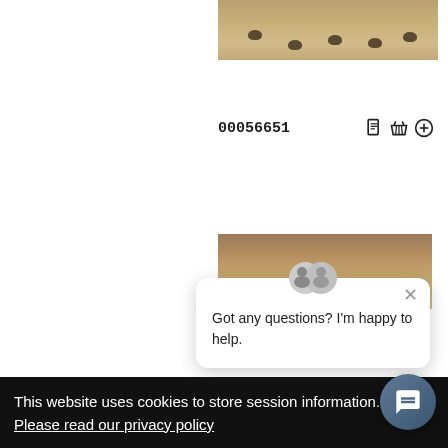[Figure (photo): Beach sand with small sea turtles crawling across it, top right portion of page]
00056651
[Figure (photo): Sandy beach surface, partially obscured by chat popup]
[Figure (screenshot): Chat popup widget with avatar icon showing two people, close button X, and text 'Got any questions? I'm happy to help.']
56635 (partially visible item ID)
This website uses cookies to store session information. Please read our privacy policy